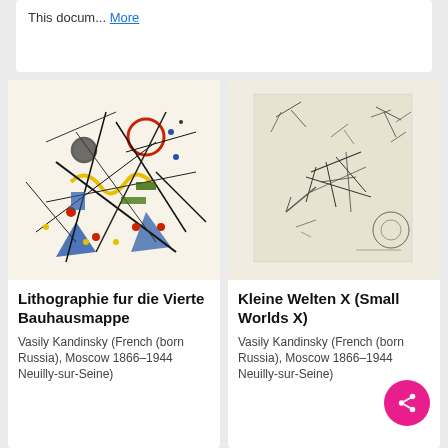This docum... More
[Figure (illustration): Kandinsky colorful abstract lithograph with dynamic lines, circles, and color patches]
[Figure (illustration): Kandinsky black and white etching with sparse abstract marks and lines]
Lithographie fur die Vierte Bauhausmappe
Vasily Kandinsky (French (born Russia), Moscow 1866–1944 Neuilly-sur-Seine)
Kleine Welten X (Small Worlds X)
Vasily Kandinsky (French (born Russia), Moscow 1866–1944 Neuilly-sur-Seine)